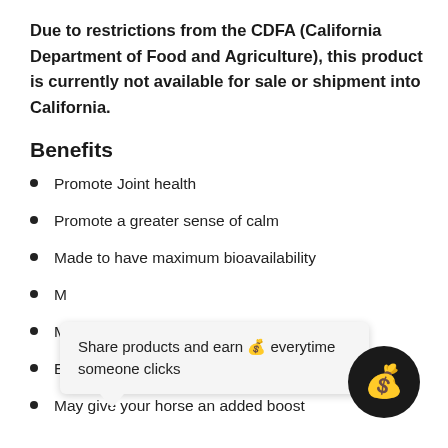Due to restrictions from the CDFA (California Department of Food and Agriculture), this product is currently not available for sale or shipment into California.
Benefits
Promote Joint health
Promote a greater sense of calm
Made to have maximum bioavailability
May help with increasing mobility
Easy to administer
May give your horse an added boost
[Figure (other): Tooltip popup reading 'Share products and earn 💰 everytime someone clicks' with a money bag icon button below it]